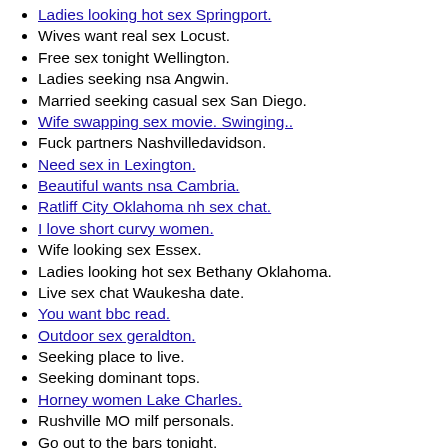Ladies looking hot sex Springport.
Wives want real sex Locust.
Free sex tonight Wellington.
Ladies seeking nsa Angwin.
Married seeking casual sex San Diego.
Wife swapping sex movie. Swinging..
Fuck partners Nashvilledavidson.
Need sex in Lexington.
Beautiful wants nsa Cambria.
Ratliff City Oklahoma nh sex chat.
I love short curvy women.
Wife looking sex Essex.
Ladies looking hot sex Bethany Oklahoma.
Live sex chat Waukesha date.
You want bbc read.
Outdoor sex geraldton.
Seeking place to live.
Seeking dominant tops.
Horney women Lake Charles.
Rushville MO milf personals.
Go out to the bars tonight.
Fuck buddies in rock island.
Lady wants sex Redings Mill.
Nude wodonga.